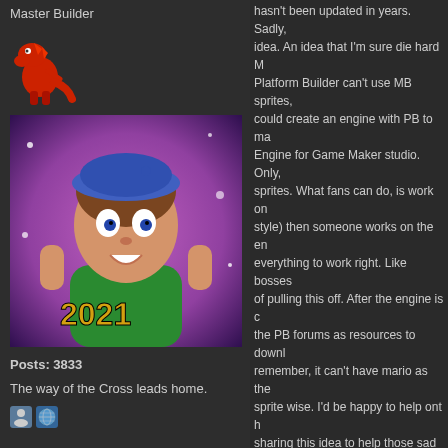Master Builder
[Figure (illustration): Small red pixel-art dinosaur mascot]
[Figure (photo): Forum user avatar: 3D animated character wearing blue beret, with '2021' text overlay, festive background]
Posts: 3833
The way of the Cross leads home.
[Figure (illustration): Two small forum icons: a person silhouette icon and a globe/world icon]
hasn't been updated in years. Sadly, idea. An idea that I'm sure die hard M Platform Builder can't use MB sprites, could create an engine with PB to ma Engine for Game Maker studio. Only, sprites. What fans can do, is work on style) then someone works on the en everything to work right. Like bosses of pulling this off. After the engine is the PB forums as resources to downl remember, it can't have mario as the sprite wise. I'd be happy to help ont h sharing this idea to help those sad ME
[Figure (infographic): Living Waters 'Are You a Good Person?' evangelism card/image on teal background. Shows text: LIVING WATERS, Are You, GOOD, PERS on a yellow card.]